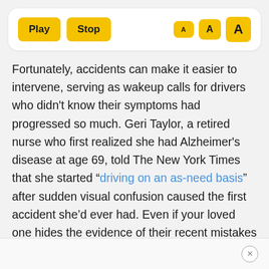[Figure (screenshot): Toolbar with Play and Stop buttons on the left, and three font-size buttons (small A, medium A, large A) in yellow on the right]
Fortunately, accidents can make it easier to intervene, serving as wakeup calls for drivers who didn't know their symptoms had progressed so much. Geri Taylor, a retired nurse who first realized she had Alzheimer's disease at age 69, told The New York Times that she started “driving on an as-need basis” after sudden visual confusion caused the first accident she’d ever had. Even if your loved one hides the evidence of their recent mistakes instead of acknowledging them, it may mean they’re aware of the change and its implications.
×